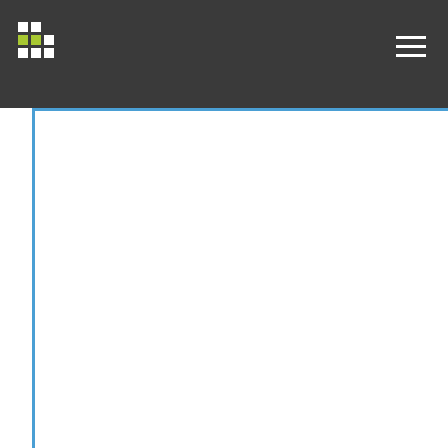Carnemolla, A.; D'Asta, A.; Giordano, A.; Iemolo, F.; Favorito, L.; Mazzoli, T.; Ricci, S.; Righetti, E.; Gresele, P.; Guercini, F.; Caporalini, R.; De Dominicis, L.; Giovagnetti, M.; Giuliani, G.; Paoletti, S.; Pucci, E.; Cavallini, A.; Persico, A.; Casoni, F.; Costa, A.; Magoni, M.; Spezi, R.; Tortorella, R.; Venturelli, E.; Vergani, V.; Caprioli, S.; Provisione, M.; Zanotta, D.; Abdullah, J.M.; Damitri, T.; Idris,